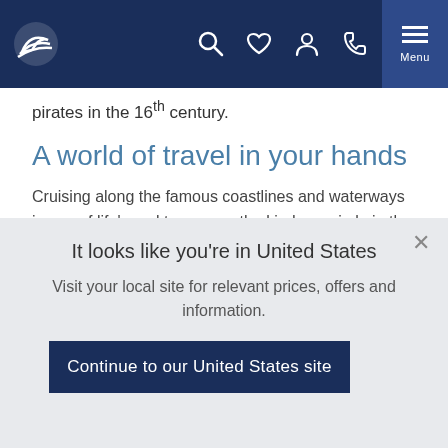Navigation bar with logo and icons
pirates in the 16th century.
A world of travel in your hands
Cruising along the famous coastlines and waterways is one of life's real treasures, the kind you circle in the calendar and greedily count down the days towards. You've saved for this, earned this, and we want to help you enjoy every moment right down to the final drop of wine at sunset.
It looks like you're in United States
Visit your local site for relevant prices, offers and information.
Continue to our United States site